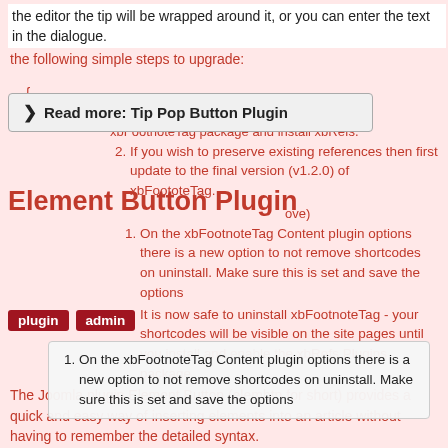the editor the tip will be wrapped around it, or you can enter the text in the dialogue.
the following simple steps to upgrade:
Read more: Tip Pop Button Plugin
Element Button Plugin
plugin  admin  ove)
On the xbFootnoteTag Content plugin options there is a new option to not remove shortcodes on uninstall. Make sure this is set and save the options
It is now safe to uninstall xbFootnoteTag - your shortcodes will be visible on the site pages until you install and enable the xbRefs Plugins package
Install xbRefs Plugins package
Check and save the options for both plugins and enable them. (there are some new and changed options so pay attention!)
The Joomla plugin Element Button (elembtn for short) provides a quick and easy way of inserting elements into an article without having to remember the detailed syntax.
Once enabled a new button appears in the TinyMCE editor
Read more: Element Button Plugin
xbRefs Plugins have several bug fixes and minor enhancements from xbFootnoteTag v1.0.1 in the initial v1.9.0, xbRefs v2.0 will be available soon with further new